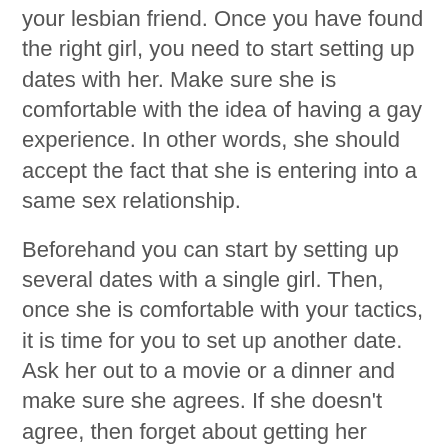your lesbian friend. Once you have found the right girl, you need to start setting up dates with her. Make sure she is comfortable with the idea of having a gay experience. In other words, she should accept the fact that she is entering into a same sex relationship.
Beforehand you can start by setting up several dates with a single girl. Then, once she is comfortable with your tactics, it is time for you to set up another date. Ask her out to a movie or a dinner and make sure she agrees. If she doesn't agree, then forget about getting her number, as it would be useless anyway. It would be best if you ask a girl to a cocktail party before the actual date. This way, you would get a feel of each other without necessarily going out on a date.
After the date, it would be best if you arrange